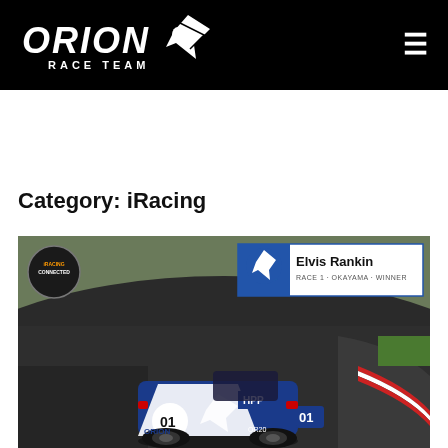ORION RACE TEAM
Category: iRacing
[Figure (photo): Racing car (Mazda MX-5 with Orion Race Team / HPP livery, number 01) on a racing circuit at Okayama. Overlay shows winner badge for Elvis Rankin, Race 1 Okayama Winner. iRacing connected badge in top-left corner.]